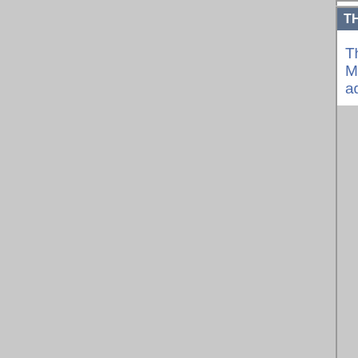THIEF OF BAGDAD (1924/Kino) - VHS
The epic fanta... Menzies. Flyi... adventure.
THIEF OF BAGDAD (1978) - VHS
The Peter Us...
THIEF, THE (1952) - VHS